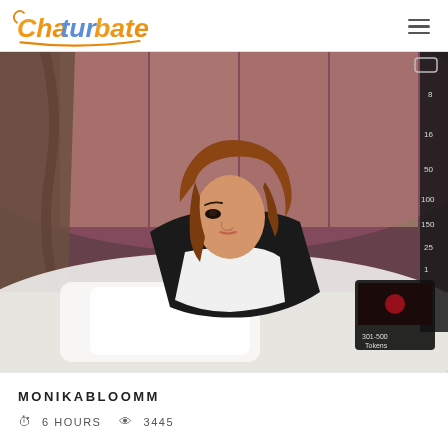Chaturbate
[Figure (screenshot): Live stream screenshot of a young woman with shoulder-length auburn hair lying on a white bed, wearing a black outfit. Pink/purple ambient lighting in the background with a neon light decoration. A vertical token meter and small video overlay visible on the right side.]
MONIKABLOOMM
6 HOURS   3445